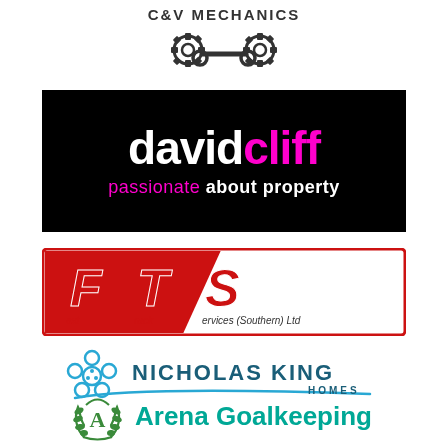[Figure (logo): C&V Mechanics logo with gear and spanner icons, text 'C&V MECHANICS' at top]
[Figure (logo): David Cliff estate agents logo: black background, 'david' in white bold, 'cliff' in magenta bold, 'passionate about property' tagline below]
[Figure (logo): FTS - Fast Track Services (Southern) Ltd logo with red diagonal stripe design]
[Figure (logo): Nicholas King Homes logo with blue flower emblem and swoosh]
[Figure (logo): Arena Goalkeeping logo with green laurel wreath 'A' emblem]